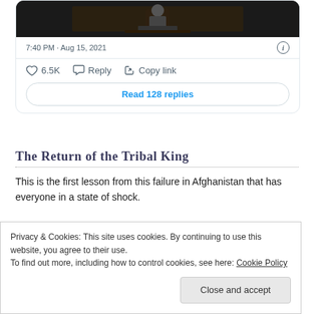[Figure (screenshot): Screenshot of a tweet card showing a video thumbnail of a person at a podium, timestamp 7:40 PM · Aug 15, 2021, with like count 6.5K, Reply and Copy link actions, and a 'Read 128 replies' button.]
The Return of the Tribal King
This is the first lesson from this failure in Afghanistan that has everyone in a state of shock.
Humans are loyal to their tribes.
Privacy & Cookies: This site uses cookies. By continuing to use this website, you agree to their use.
To find out more, including how to control cookies, see here: Cookie Policy
Close and accept